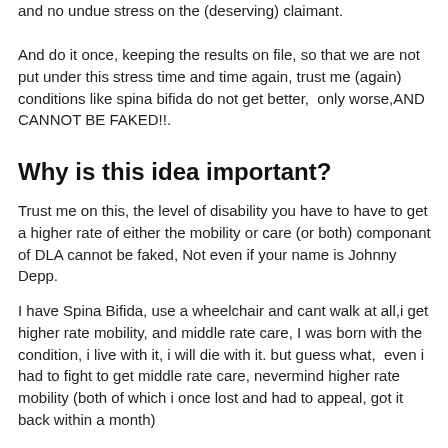and no undue stress on the (deserving) claimant.
And do it once, keeping the results on file, so that we are not put under this stress time and time again, trust me (again) conditions like spina bifida do not get better,  only worse,AND CANNOT BE FAKED!!.
Why is this idea important?
Trust me on this, the level of disability you have to have to get a higher rate of either the mobility or care (or both) componant of DLA cannot be faked, Not even if your name is Johnny Depp.
I have Spina Bifida, use a wheelchair and cant walk at all,i get higher rate mobility, and middle rate care, I was born with the condition, i live with it, i will die with it. but guess what,  even i had to fight to get middle rate care, nevermind higher rate mobility (both of which i once lost and had to appeal, got it back within a month)